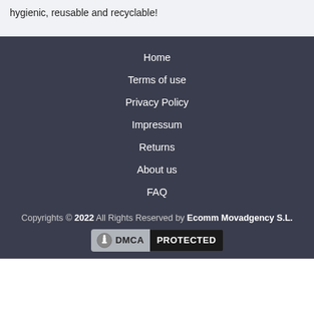hygienic, reusable and recyclable!
Home
Terms of use
Privacy Policy
Impressum
Returns
About us
FAQ
Copyrights © 2022 All Rights Reserved by Ecomm Movadgency S.L. DMCA PROTECTED